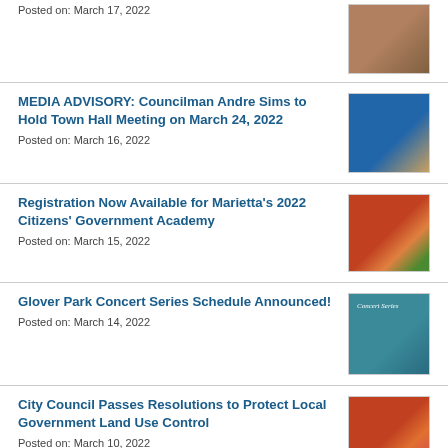Posted on: March 17, 2022
MEDIA ADVISORY: Councilman Andre Sims to Hold Town Hall Meeting on March 24, 2022
Posted on: March 16, 2022
Registration Now Available for Marietta's 2022 Citizens' Government Academy
Posted on: March 15, 2022
Glover Park Concert Series Schedule Announced!
Posted on: March 14, 2022
City Council Passes Resolutions to Protect Local Government Land Use Control
Posted on: March 10, 2022
Marietta's Gem City Spring Break Camp Registration Now Open
Posted on: March 10, 2022